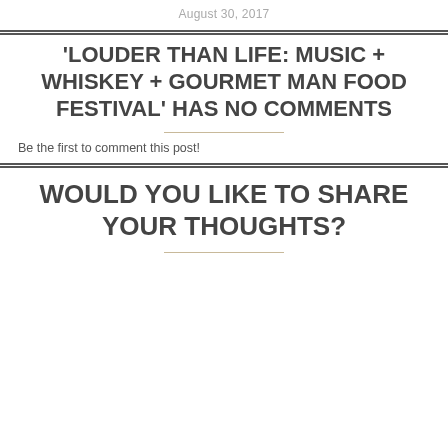August 30, 2017
'LOUDER THAN LIFE: MUSIC + WHISKEY + GOURMET MAN FOOD FESTIVAL' HAS NO COMMENTS
Be the first to comment this post!
WOULD YOU LIKE TO SHARE YOUR THOUGHTS?